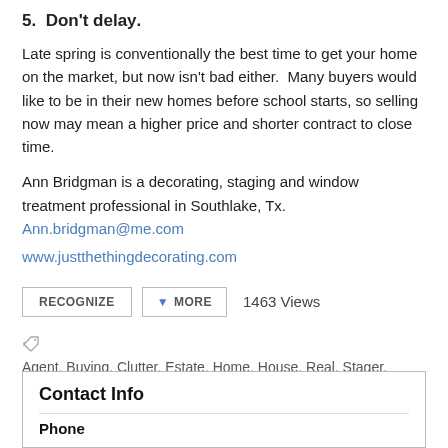5.  Don't delay.
Late spring is conventionally the best time to get your home on the market, but now isn't bad either.  Many buyers would like to be in their new homes before school starts, so selling now may mean a higher price and shorter contract to close time.
Ann Bridgman is a decorating, staging and window treatment professional in Southlake, Tx. Ann.bridgman@me.com
www.justthethingdecorating.com
RECOGNIZE  ▾ MORE  1463 Views
Agent, Buying, Clutter, Estate, Home, House, Real, Stager, Staging
Contact Info
Phone